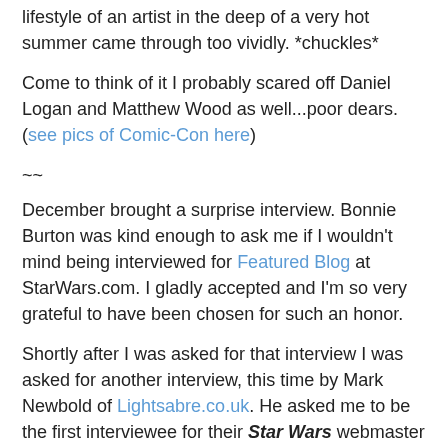lifestyle of an artist in the deep of a very hot summer came through too vividly. *chuckles*
Come to think of it I probably scared off Daniel Logan and Matthew Wood as well...poor dears. (see pics of Comic-Con here)
~~
December brought a surprise interview. Bonnie Burton was kind enough to ask me if I wouldn't mind being interviewed for Featured Blog at StarWars.com. I gladly accepted and I'm so very grateful to have been chosen for such an honor.
Shortly after I was asked for that interview I was asked for another interview, this time by Mark Newbold of Lightsabre.co.uk. He asked me to be the first interviewee for their Star Wars webmaster series for the new year, look for it on January 14, 2006. I'm looking forward to seeing the following interviews with the other webmasters.
I thank both Ms. Burton and Mr. Newbold for their kindness, their great questions, for making me feel at ease and for